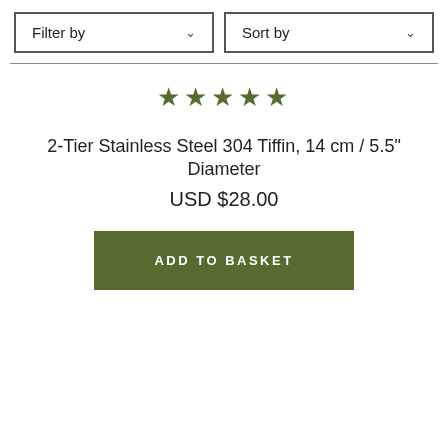Filter by
Sort by
[Figure (other): Five filled green/olive star rating icons]
2-Tier Stainless Steel 304 Tiffin, 14 cm / 5.5" Diameter
USD $28.00
ADD TO BASKET